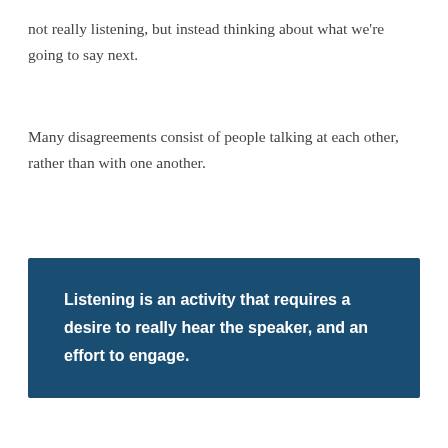not really listening, but instead thinking about what we're going to say next.
Many disagreements consist of people talking at each other, rather than with one another.
Listening is an activity that requires a desire to really hear the speaker, and an effort to engage.